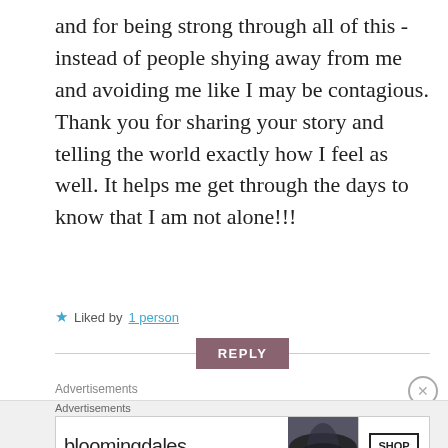and for being strong through all of this - instead of people shying away from me and avoiding me like I may be contagious. Thank you for sharing your story and telling the world exactly how I feel as well. It helps me get through the days to know that I am not alone!!!
Liked by 1 person
REPLY
Advertisements
[Figure (screenshot): Bloomingdale's advertisement banner with logo, 'View Today's Top Deals!' tagline, woman in wide-brim hat, and 'SHOP NOW >' button.]
Advertisements